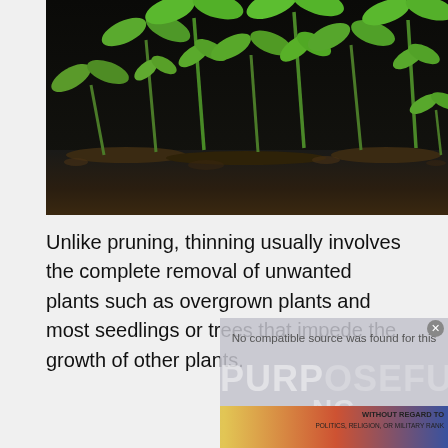[Figure (photo): Close-up photo of young green seedlings growing in dark soil against a black background. Multiple small plants with pairs of leaves visible at various growth stages.]
Unlike pruning, thinning usually involves the complete removal of unwanted plants such as overgrown plants and most seedlings or trees that impede the growth of other plants.
[Figure (screenshot): An advertisement overlay showing 'No compatible source was found for this' message, a banner ad with an airplane and the text 'PURPOSEFUL' and 'WITHOUT REGARD TO' text visible.]